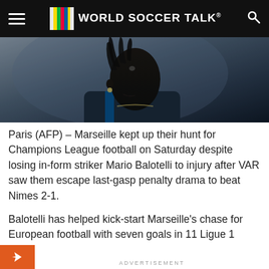WORLD SOCCER TALK®
[Figure (photo): Close-up side profile of Mario Balotelli in a dark blue Marseille kit, with dreadlocks and jewelry visible against a blurred background.]
Paris (AFP) – Marseille kept up their hunt for Champions League football on Saturday despite losing in-form striker Mario Balotelli to injury after VAR saw them escape last-gasp penalty drama to beat Nimes 2-1.
Balotelli has helped kick-start Marseille's chase for European football with seven goals in 11 Ligue 1 appearances since arriving from Nice in January but left the field with a thigh injury 12 minutes before the break.
ADVERTISEMENT